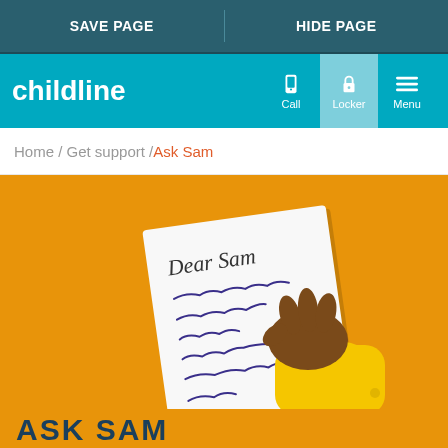SAVE PAGE | HIDE PAGE
childline
Home / Get support / Ask Sam
[Figure (illustration): Hand holding a letter that reads 'Dear Sam' with handwritten scribble lines below, on an orange background]
ASK SAM